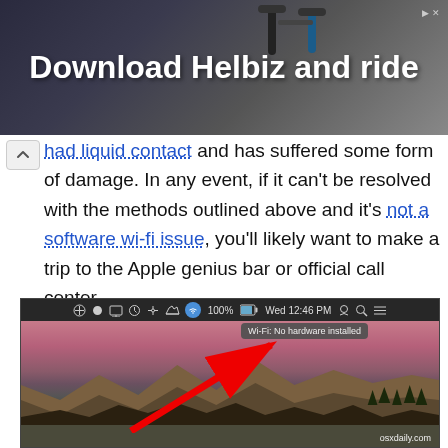[Figure (photo): Advertisement banner for Helbiz scooter app showing bicycle handlebars with text 'Download Helbiz and ride']
had liquid contact and has suffered some form of damage. In any event, if it can't be resolved with the methods outlined above and it's not a software wi-fi issue, you'll likely want to make a trip to the Apple genius bar or official call center.
[Figure (screenshot): macOS desktop screenshot showing menubar with Wi-Fi icon highlighted in blue, tooltip showing 'Wi-Fi: No hardware installed', red arrow pointing to the icon, mountain landscape wallpaper, watermark osxdaily.com]